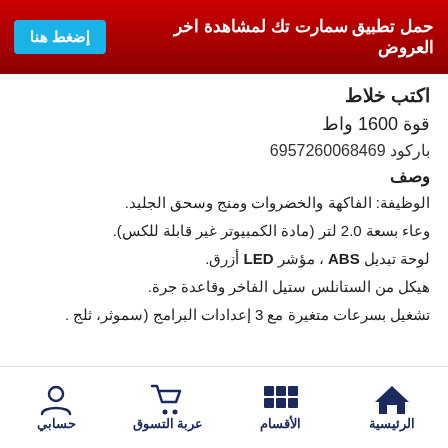حمل تطبيق سمارت تك لمشاهدة اخر العروض | إضغط هنا
اكتب خلاط
قوة 1600 واط
باركود 6957260068469
وصف
الوظيفة: الفاكهة والخضروات ومنج وسحق الجليد.
وعاء بسعة 2.0 لتر (مادة الكمبيوتر غير قابلة للكس).
لوحة تبديل ABS ، مؤشر LED أزرق.
هيكل من الستانلس ستيل الفاخر وقاعدة جرة.
تشغيل بسرعات متغيرة مع 3 إعدادات البرامج (سموثر، ثلج...
الرئيسية | الأقسام | عربة التسوق | حسابي